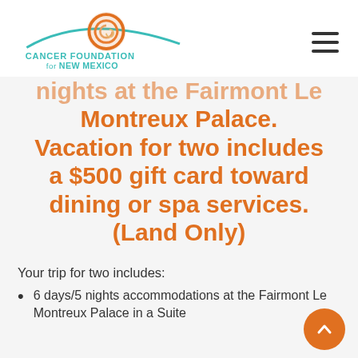[Figure (logo): Cancer Foundation for New Mexico logo with orange spiral and teal arc above text]
nights at the Fairmont Le Montreux Palace. Vacation for two includes a $500 gift card toward dining or spa services. (Land Only)
Your trip for two includes:
6 days/5 nights accommodations at the Fairmont Le Montreux Palace in a Suite